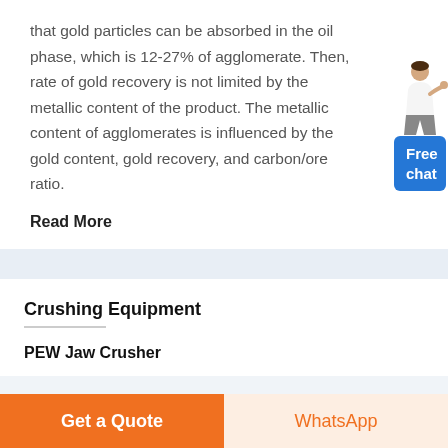that gold particles can be absorbed in the oil phase, which is 12-27% of agglomerate. Then, rate of gold recovery is not limited by the metallic content of the product. The metallic content of agglomerates is influenced by the gold content, gold recovery, and carbon/ore ratio.
Read More
[Figure (illustration): Chat widget with a person figure pointing and a blue 'Free chat' button]
Crushing Equipment
PEW Jaw Crusher
Get a Quote
WhatsApp